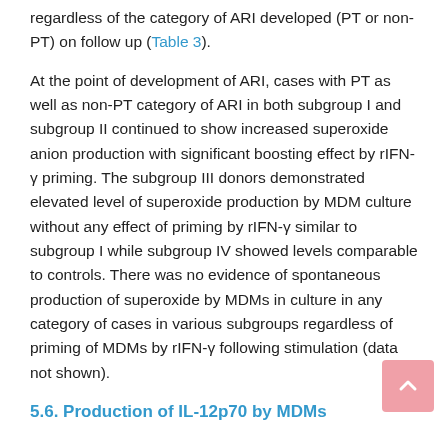regardless of the category of ARI developed (PT or non-PT) on follow up (Table 3).
At the point of development of ARI, cases with PT as well as non-PT category of ARI in both subgroup I and subgroup II continued to show increased superoxide anion production with significant boosting effect by rIFN-γ priming. The subgroup III donors demonstrated elevated level of superoxide production by MDM culture without any effect of priming by rIFN-γ similar to subgroup I while subgroup IV showed levels comparable to controls. There was no evidence of spontaneous production of superoxide by MDMs in culture in any category of cases in various subgroups regardless of priming of MDMs by rIFN-γ following stimulation (data not shown).
5.6. Production of IL-12p70 by MDMs